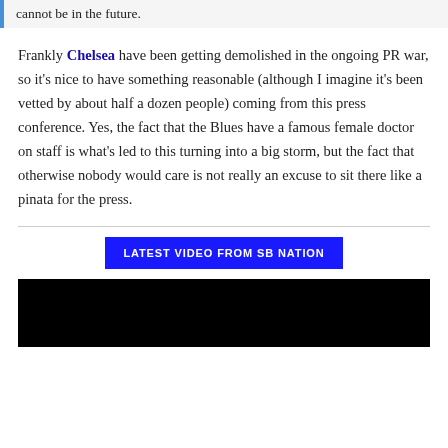cannot be in the future.
Frankly Chelsea have been getting demolished in the ongoing PR war, so it's nice to have something reasonable (although I imagine it's been vetted by about half a dozen people) coming from this press conference. Yes, the fact that the Blues have a famous female doctor on staff is what's led to this turning into a big storm, but the fact that otherwise nobody would care is not really an excuse to sit there like a pinata for the press.
[Figure (other): LATEST VIDEO FROM SB NATION button and video thumbnail (black rectangle)]